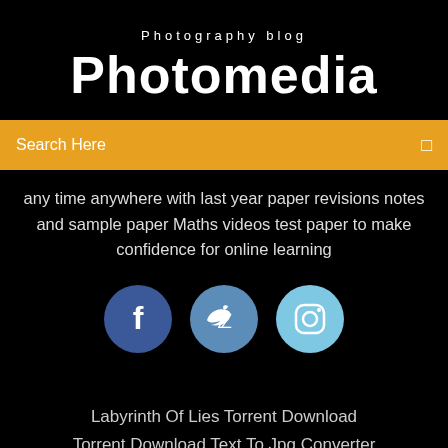Photography blog
Photomedia
Search Here
any time anywhere with last year paper revisions notes and sample paper Maths videos test paper to make confidence for online learning
[Figure (infographic): Three social media icons: Facebook (dark blue circle with f), Twitter (medium blue circle with bird), Instagram (light blue circle with camera)]
Labyrinth Of Lies Torrent Download
Torrent Download Text To Jpg Converter